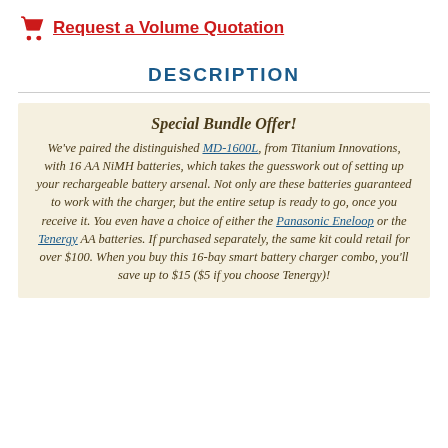Request a Volume Quotation
DESCRIPTION
Special Bundle Offer! We've paired the distinguished MD-1600L, from Titanium Innovations, with 16 AA NiMH batteries, which takes the guesswork out of setting up your rechargeable battery arsenal. Not only are these batteries guaranteed to work with the charger, but the entire setup is ready to go, once you receive it. You even have a choice of either the Panasonic Eneloop or the Tenergy AA batteries. If purchased separately, the same kit could retail for over $100. When you buy this 16-bay smart battery charger combo, you'll save up to $15 ($5 if you choose Tenergy)!